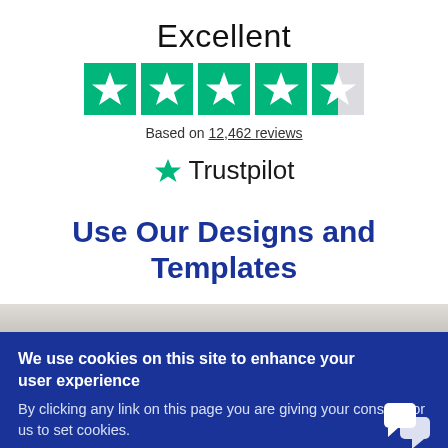Excellent
[Figure (other): Trustpilot 4.5-star rating shown as 5 green/grey star boxes with white star icons]
Based on 12,462 reviews
[Figure (logo): Trustpilot logo: green star icon followed by Trustpilot wordmark]
Use Our Designs and Templates
We use cookies on this site to enhance your user experience
By clicking any link on this page you are giving your consent for us to set cookies.
OK, I AGREE